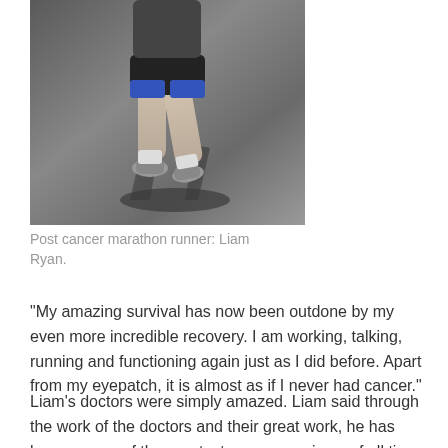[Figure (photo): A marathon runner in mid-stride on a road, wearing dark shorts and a yellow race bib numbered 6482, with shadow cast on the pavement. Upper body cropped out of frame.]
Post cancer marathon runner: Liam Ryan.
“My amazing survival has now been outdone by my even more incredible recovery. I am working, talking, running and functioning again just as I did before. Apart from my eyepatch, it is almost as if I never had cancer.”
Liam’s doctors were simply amazed. Liam said through the work of the doctors and their great work, he has become one of the greatest cancer survivors of all time.